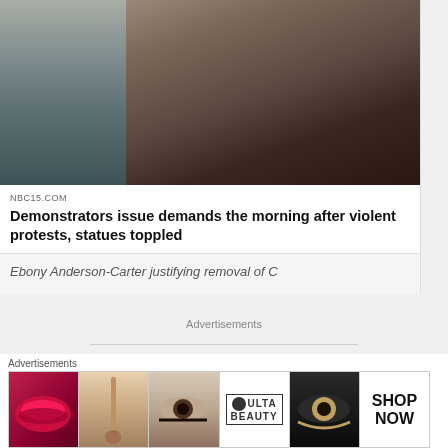[Figure (photo): Photo of a Black woman wearing a teal face mask and dark jacket, standing in front of concrete steps]
NBC15.COM
Demonstrators issue demands the morning after violent protests, statues toppled
Ebony Anderson-Carter justifying removal of C
Advertisements
[Figure (logo): AUTOMATTIC logo with circular compass/gear icon replacing the O]
Advertisements
[Figure (photo): Ulta Beauty advertisement banner showing lipstick, makeup brush, eye makeup, Ulta logo, eye makeup, and SHOP NOW button]